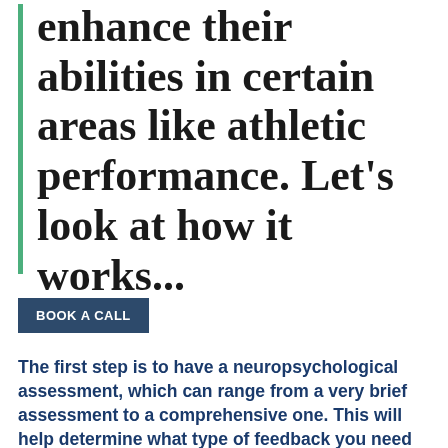enhance their abilities in certain areas like athletic performance. Let's look at how it works...
BOOK A CALL
The first step is to have a neuropsychological assessment, which can range from a very brief assessment to a comprehensive one. This will help determine what type of feedback you need and the areas of your brain that need improvement. You will then be given a brain map which will show you where your brain waves are at